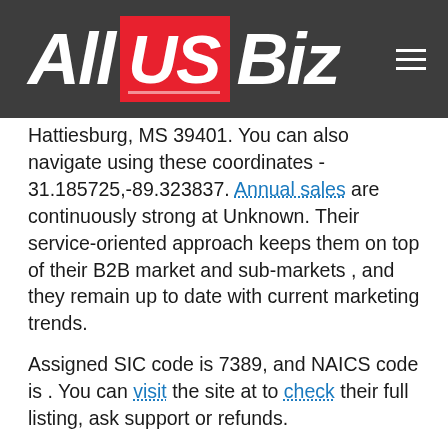All US Biz (logo header)
Hattiesburg, MS 39401. You can also navigate using these coordinates - 31.185725,-89.323837. Annual sales are continuously strong at Unknown. Their service-oriented approach keeps them on top of their B2B market and sub-markets , and they remain up to date with current marketing trends.
Assigned SIC code is 7389, and NAICS code is . You can visit the site at to check their full listing, ask support or refunds.
You can create your own account for better communication. Reliable sales personnel and maintenance support will be there to assist you. Any queries will also be handled by contacting (248) 886-8635 FULL PHONE REPORT . Contact numbers are available during business hours.